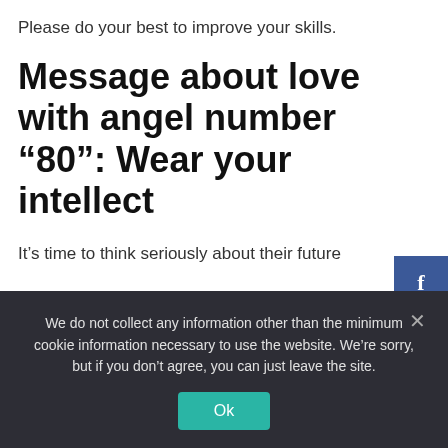Please do your best to improve your skills.
Message about love with angel number ‘80’: Wear your intellect
It’s time to think seriously about their future
We do not collect any information other than the minimum cookie information necessary to use the website. We’re sorry, but if you don’t agree, you can just leave the site.